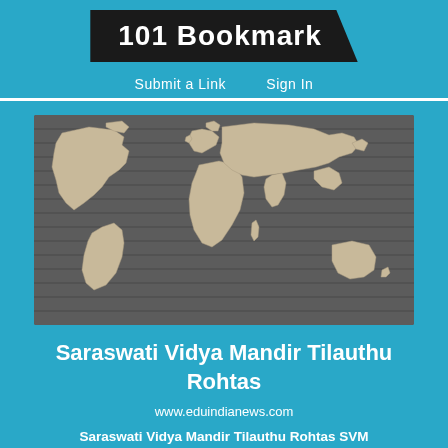101 Bookmark
Submit a Link    Sign In
[Figure (map): 3D relief world map showing continents in beige/cream color against a dark gray striped background]
Saraswati Vidya Mandir Tilauthu Rohtas
www.eduindianews.com
Saraswati Vidya Mandir Tilauthu Rohtas SVM Admission details 2023-24. Find Fee Structure,